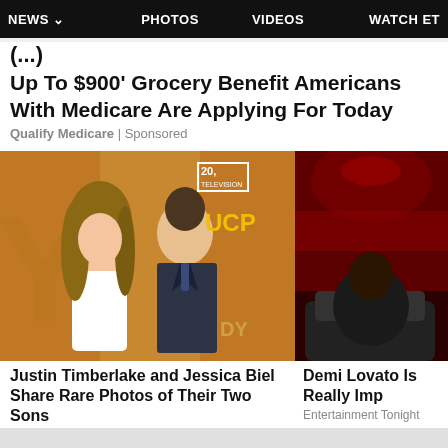NEWS  PHOTOS  VIDEOS  WATCH ET
(...)
Up To $900' Grocery Benefit Americans With Medicare Are Applying For Today
Qualify Medicare | Sponsored
[Figure (photo): Justin Timberlake and Jessica Biel posing together at an event with 20 Television and UCP logos in background]
Justin Timberlake and Jessica Biel Share Rare Photos of Their Two Sons
[Figure (photo): Partial photo of person at event with dark red background]
Demi Lovato Is Really Imp
Entertainment Tonight